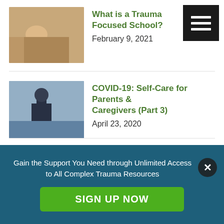What is a Trauma Focused School?
February 9, 2021
COVID-19: Self-Care for Parents & Caregivers (Part 3)
April 23, 2020
VIDEO SERIES (COVID-19 – Helping Kids In Times Of Stress) Part 2
April 23, 2020
Gain the Support You Need through Unlimited Access to All Complex Trauma Resources
SIGN UP NOW